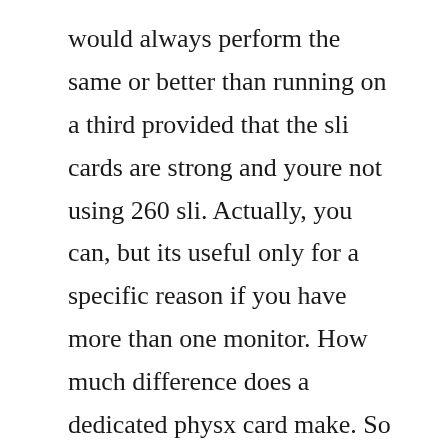would always perform the same or better than running on a third provided that the sli cards are strong and youre not using 260 sli. Actually, you can, but its useful only for a specific reason if you have more than one monitor. How much difference does a dedicated physx card make. So i connected everything up so i was running the two 480s in sli and the 460 as the dedicated physx card. Nov 03, 2010 a demonstration of the performance increase gained from sli and physx cards. See in your performance analysis that in your heavy physx on 580 sli scenario